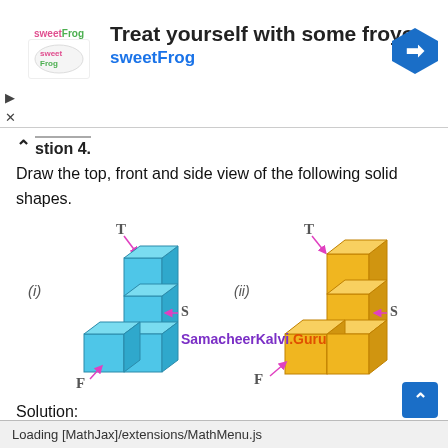[Figure (other): SweetFrog advertisement banner with logo, text 'Treat yourself with some froyo sweetFrog', and navigation arrow icon]
Question 4.
Draw the top, front and side view of the following solid shapes.
[Figure (illustration): Figure (i): 3D blue cube staircase shape made of blocks, with labels T (top), F (front), S (side) indicated by pink arrows]
[Figure (illustration): Figure (ii): 3D yellow cube L-shape made of blocks, with labels T (top), F (front), S (side) indicated by pink arrows]
SamacheerKalvi.Guru
Solution:
(i)   (a) Top view   (b) Front view   (c) Side view
[Figure (illustration): Grid squares showing partial top, front, and side view diagrams]
Loading [MathJax]/extensions/MathMenu.js